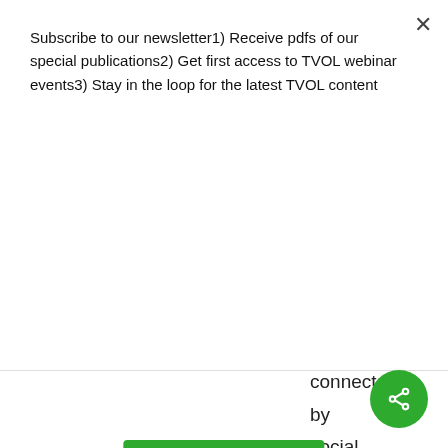Subscribe to our newsletter1) Receive pdfs of our special publications2) Get first access to TVOL webinar events3) Stay in the loop for the latest TVOL content
SUBSCRIBE
connected by social media. There was a discussion of this
[Figure (other): Green circular share button with share icon]